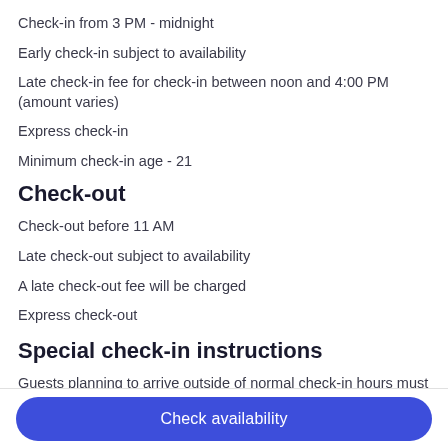Check-in from 3 PM - midnight
Early check-in subject to availability
Late check-in fee for check-in between noon and 4:00 PM (amount varies)
Express check-in
Minimum check-in age - 21
Check-out
Check-out before 11 AM
Late check-out subject to availability
A late check-out fee will be charged
Express check-out
Special check-in instructions
Guests planning to arrive outside of normal check-in hours must contact the property in advance for check-in instructions: front desk
Check availability